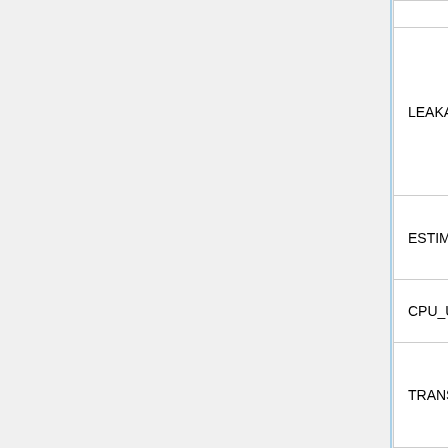| Name | Value | Description |
| --- | --- | --- |
|  |  | op... |
| LEAKAGE_CORR_SOL_TIME | 1 | Wa... spe... lea... con... sol... set... opt... |
| ESTIMATED_RUNNING_TIME | 1(2) | Est... wa... run... |
| CPU_USAGE | 1 | Tot... usa... |
| TRANSPORT_CPU_USAGE | 1(2) | CP... fra... tra... sim... |
| OMP_PARALLEL_FRAC | 1 | Fra... tim... |